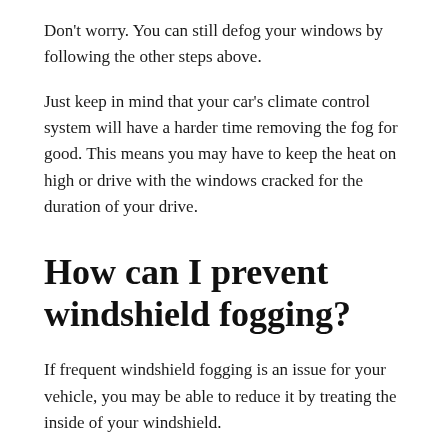Don't worry. You can still defog your windows by following the other steps above.
Just keep in mind that your car's climate control system will have a harder time removing the fog for good. This means you may have to keep the heat on high or drive with the windows cracked for the duration of your drive.
How can I prevent windshield fogging?
If frequent windshield fogging is an issue for your vehicle, you may be able to reduce it by treating the inside of your windshield.